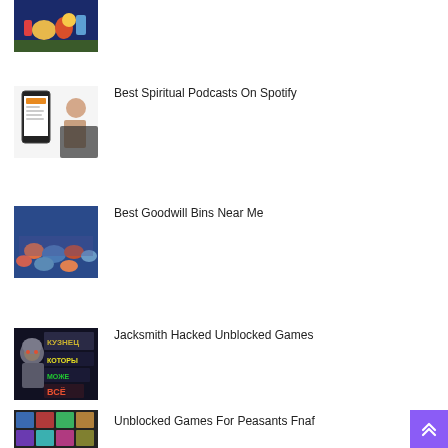[Figure (photo): Thumbnail image of toys/animals on a surface (partial, cropped at top)]
[Figure (photo): Thumbnail image showing a smartphone app with a person next to it - spiritual podcasts on Spotify]
Best Spiritual Podcasts On Spotify
[Figure (photo): Thumbnail image of people shopping in a Goodwill bins store]
Best Goodwill Bins Near Me
[Figure (photo): Thumbnail image of Jacksmith game with Russian text characters]
Jacksmith Hacked Unblocked Games
[Figure (photo): Thumbnail image of an unblocked games interface - Peasants Fnaf]
Unblocked Games For Peasants Fnaf
[Figure (illustration): Purple back-to-top button with double chevron arrow]